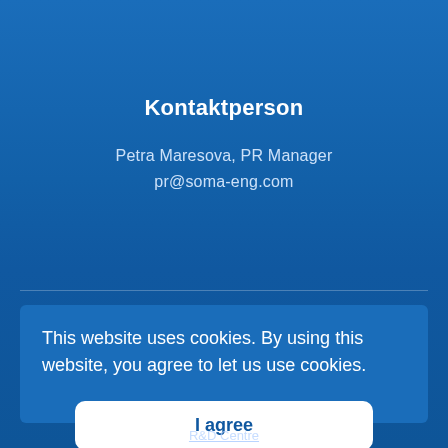Kontaktperson
Petra Maresova, PR Manager
pr@soma-eng.com
This website uses cookies. By using this website, you agree to let us use cookies.
I agree
R&D Centre